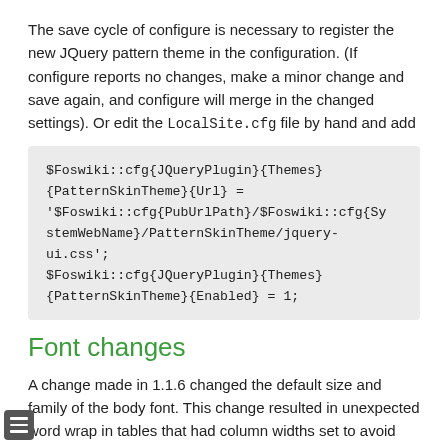The save cycle of configure is necessary to register the new JQuery pattern theme in the configuration. (If configure reports no changes, make a minor change and save again, and configure will merge in the changed settings). Or edit the LocalSite.cfg file by hand and add
$Foswiki::cfg{JQueryPlugin}{Themes}{PatternSkinTheme}{Url} = '$Foswiki::cfg{PubUrlPath}/$Foswiki::cfg{SystemWebName}/PatternSkinTheme/jquery-ui.css';
$Foswiki::cfg{JQueryPlugin}{Themes}{PatternSkinTheme}{Enabled} = 1;
Font changes
A change made in 1.1.6 changed the default size and family of the body font. This change resulted in unexpected word wrap in tables that had column widths set to avoid wrapping. Foswiki